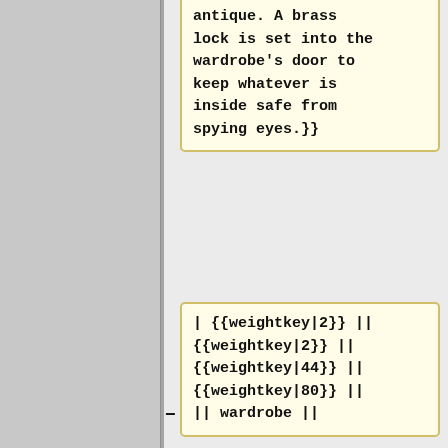could still say antique. A brass lock is set into the wardrobe's door to keep whatever is inside safe from spying eyes.}}
| {{weightkey|2}} || {{weightkey|2}} || {{weightkey|44}} || {{weightkey|80}} || || wardrobe ||
|-
| [http://daftjunk.com/dw/items/index.php?item=1622]
|{{abbrl|antique steel range|This is an antique steel range which has been preserved relatively well